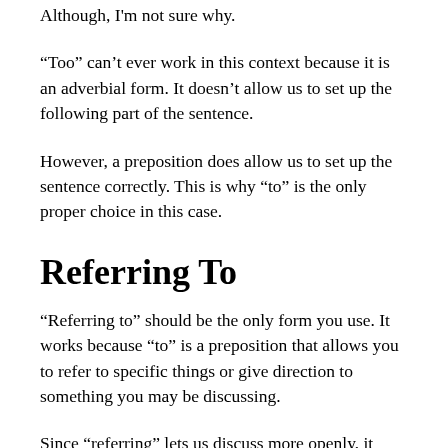Although, I'm not sure why.
“Too” can’t ever work in this context because it is an adverbial form. It doesn’t allow us to set up the following part of the sentence.
However, a preposition does allow us to set up the sentence correctly. This is why “to” is the only proper choice in this case.
Referring To
“Referring to” should be the only form you use. It works because “to” is a preposition that allows you to refer to specific things or give direction to something you may be discussing.
Since “referring” lets us discuss more openly, it works